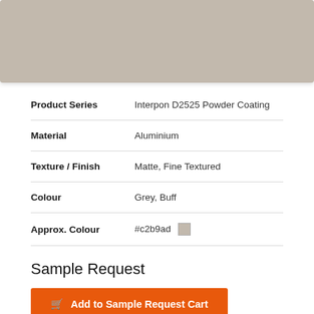[Figure (photo): Color swatch showing a matte buff/grey tone (#c2b9ad) representing the Interpon D2525 powder coating finish]
| Property | Value |
| --- | --- |
| Product Series | Interpon D2525 Powder Coating |
| Material | Aluminium |
| Texture / Finish | Matte, Fine Textured |
| Colour | Grey, Buff |
| Approx. Colour | #c2b9ad [swatch] |
Sample Request
Add to Sample Request Cart